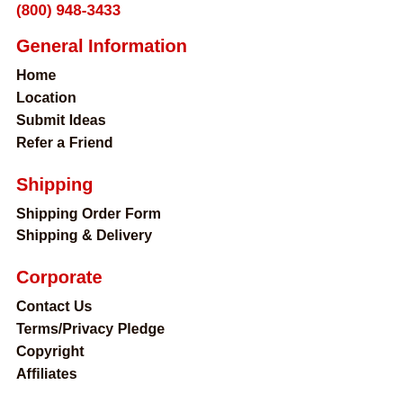(800) 948-3433
General Information
Home
Location
Submit Ideas
Refer a Friend
Shipping
Shipping Order Form
Shipping & Delivery
Corporate
Contact Us
Terms/Privacy Pledge
Copyright
Affiliates